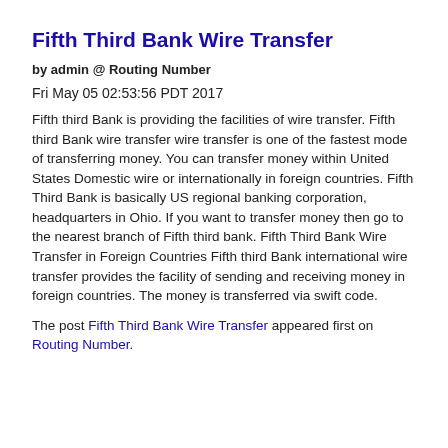Fifth Third Bank Wire Transfer
by admin @ Routing Number
Fri May 05 02:53:56 PDT 2017
Fifth third Bank is providing the facilities of wire transfer. Fifth third Bank wire transfer wire transfer is one of the fastest mode of transferring money. You can transfer money within United States Domestic wire or internationally in foreign countries. Fifth Third Bank is basically US regional banking corporation, headquarters in Ohio. If you want to transfer money then go to the nearest branch of Fifth third bank. Fifth Third Bank Wire Transfer in Foreign Countries Fifth third Bank international wire transfer provides the facility of sending and receiving money in foreign countries. The money is transferred via swift code.
The post Fifth Third Bank Wire Transfer appeared first on Routing Number.